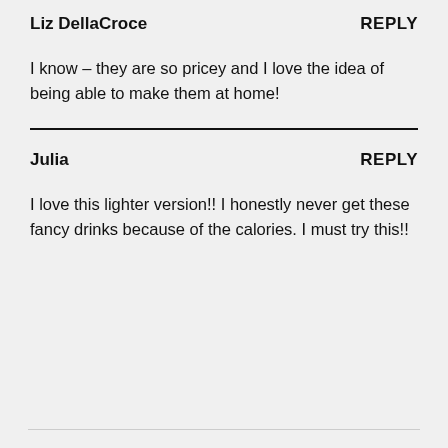Liz DellaCroce
REPLY
I know – they are so pricey and I love the idea of being able to make them at home!
Julia
REPLY
I love this lighter version!! I honestly never get these fancy drinks because of the calories. I must try this!!